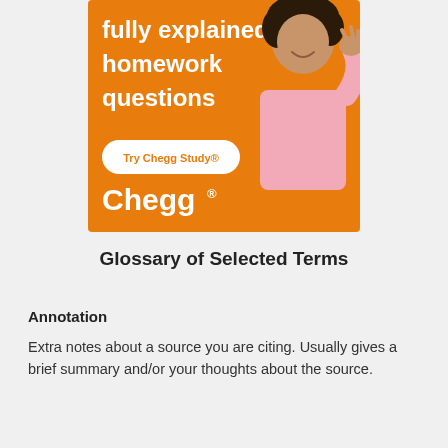[Figure (illustration): Chegg advertisement banner with orange background. Text reads 'fully explained homework questions'. A white pill-shaped button says 'Try Chegg Study®'. The Chegg logo appears in white. A smiling woman with curly hair wearing a pink sweatshirt is shown on the right side.]
Glossary of Selected Terms
Annotation
Extra notes about a source you are citing. Usually gives a brief summary and/or your thoughts about the source.